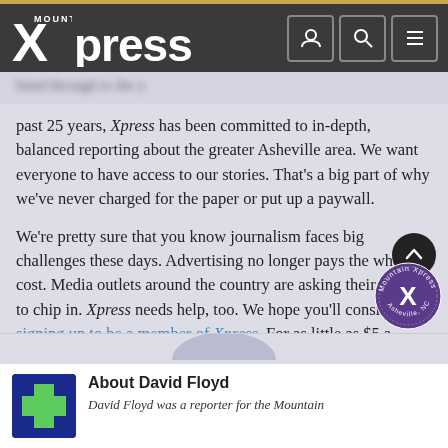Mountain Xpress
past 25 years, Xpress has been committed to in-depth, balanced reporting about the greater Asheville area. We want everyone to have access to our stories. That's a big part of why we've never charged for the paper or put up a paywall.
We're pretty sure that you know journalism faces big challenges these days. Advertising no longer pays the whole cost. Media outlets around the country are asking their readers to chip in. Xpress needs help, too. We hope you'll consider signing up to be a member of Xpress. For as little as $5 a month — the cost of a craft beer or kombucha — you can help keep local journalism strong. It only takes a moment.
About David Floyd
David Floyd was a reporter for the Mountain